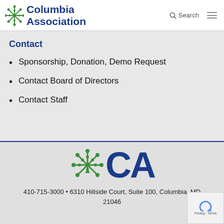Columbia Association
Contact
Sponsorship, Donation, Demo Request
Contact Board of Directors
Contact Staff
[Figure (logo): Columbia Association CA leaf logo in footer]
410-715-3000 • 6310 Hillside Court, Suite 100, Columbia, MD 21046